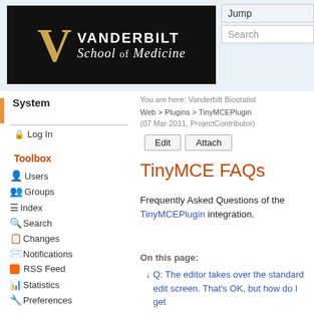[Figure (logo): Vanderbilt School of Medicine logo — black background with gold V and white text]
Jump
Search
System
🔒 Log In
Toolbox
Users
Groups
Index
Search
Changes
Notifications
RSS Feed
Statistics
Preferences
User Reference
BeginnersStartHere
TextFormattingRules
Macros
You are here: Vanderbilt Biostatist Web > Plugins > TinyMCEPlugin (07 Mar 2011, ProjectContributor)
Edit   Attach
TinyMCE FAQs
Frequently Asked Questions of the TinyMCEPlugin integration.
On this page:
↓ Q: The editor takes over the standard edit screen. That's OK, but how do I get